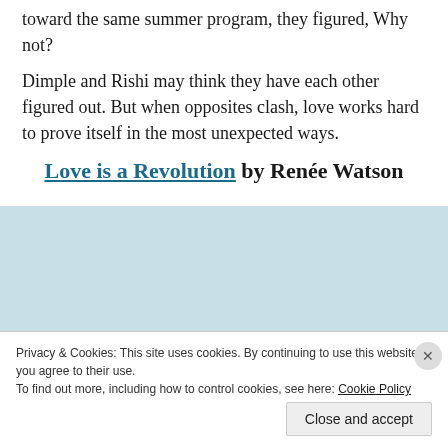toward the same summer program, they figured, Why not?
Dimple and Rishi may think they have each other figured out. But when opposites clash, love works hard to prove itself in the most unexpected ways.
Love is a Revolution by Renée Watson
Syn
Privacy & Cookies: This site uses cookies. By continuing to use this website, you agree to their use.
To find out more, including how to control cookies, see here: Cookie Policy
Close and accept